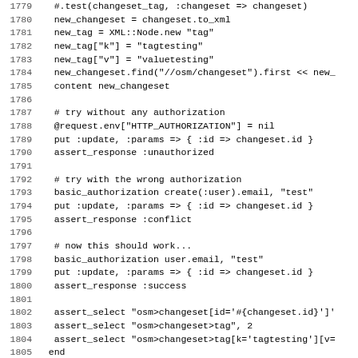[Figure (screenshot): Source code listing showing Ruby test code for changeset update functionality, lines 1779-1811, with line numbers on the left and monospace code on the right.]